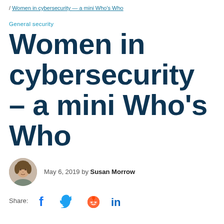/ Women in cybersecurity — a mini Who's Who
General security
Women in cybersecurity – a mini Who's Who
May 6, 2019 by Susan Morrow
Share: